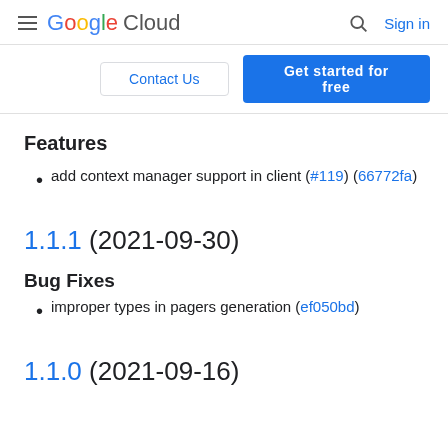Google Cloud  Sign in
Contact Us  Get started for free
Features
add context manager support in client (#119) (66772fa)
1.1.1 (2021-09-30)
Bug Fixes
improper types in pagers generation (ef050bd)
1.1.0 (2021-09-16)